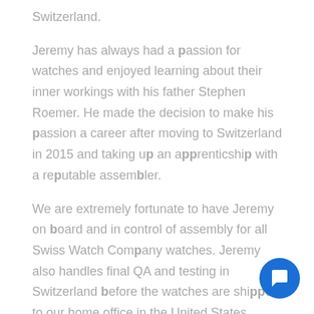Switzerland.
Jeremy has always had a passion for watches and enjoyed learning about their inner workings with his father Stephen Roemer. He made the decision to make his passion a career after moving to Switzerland in 2015 and taking up an apprenticeship with a reputable assembler.
We are extremely fortunate to have Jeremy on board and in control of assembly for all Swiss Watch Company watches. Jeremy also handles final QA and testing in Switzerland before the watches are shipp to our home office in the United States.